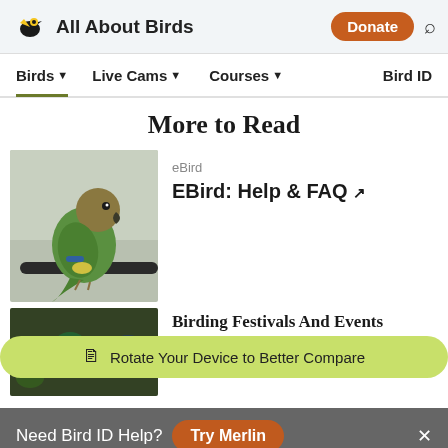All About Birds | Donate | Search
Birds ▾  Live Cams ▾  Courses ▾  Bird ID
More to Read
eBird
EBird: Help & FAQ ↗
Birding Festivals And Events
⬜ Rotate Your Device to Better Compare
Need Bird ID Help?  Try Merlin
Overview  ID info  Life History  Maps  Sounds
[Figure (photo): Green and brown parrot perched on a dark rod, facing right, with muted background]
[Figure (photo): Partial view of colorful birds or bird-related image, partially obscured by rotate banner]